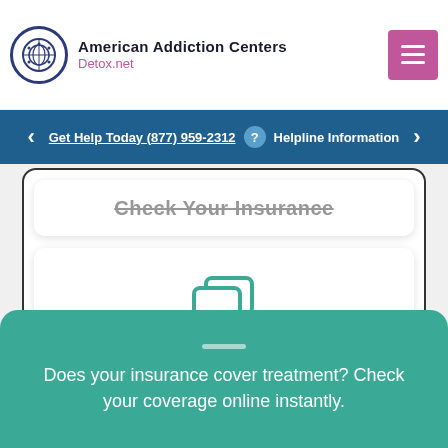American Addiction Centers Detox.net
Get Help Today (877) 959-2312  Helpline Information
Check Your Insurance
Get Text Support
Does your insurance cover treatment? Check your coverage online instantly.